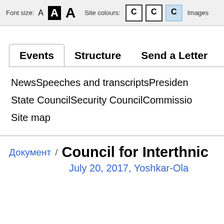Font size: A A A  Site colours: C C C  Images
Events  Structure  Send a Letter
News  Speeches and transcripts  President
State Council  Security Council  Commission
Site map
Документ / Council for Interethnic
July 20, 2017, Yoshkar-Ola